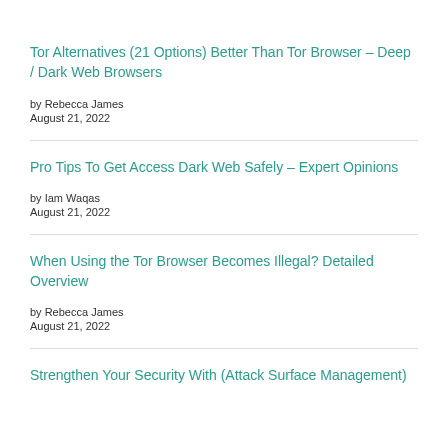Tor Alternatives (21 Options) Better Than Tor Browser – Deep / Dark Web Browsers
by Rebecca James
August 21, 2022
Pro Tips To Get Access Dark Web Safely – Expert Opinions
by Iam Waqas
August 21, 2022
When Using the Tor Browser Becomes Illegal? Detailed Overview
by Rebecca James
August 21, 2022
Strengthen Your Security With (Attack Surface Management)